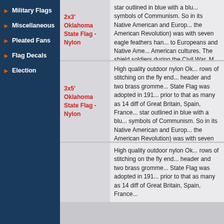Military Flags
Miscellaneous
Pleated Fans
Flag Decals
Election
2x3' Oklahoma State Flag - Nylon
star outlined in blue with a blu... symbols of Communism. So in... its Native American and Europ... the American Revolution) was... with seven eagle feathers han... to Europeans and Native Ame... American cultures. The shield... soldiers during the Civil War. M... added to the design in 1941, a... flag.
3x5' Oklahoma State Flag - Nylon
High quality outdoor nylon Ok... rows of stitching on the fly end... header and two brass gromme... State Flag was adopted in 191... prior to that as many as 14 dif... of Great Britain, Spain, France... star outlined in blue with a blu... symbols of Communism. So in... its Native American and Europ... the American Revolution) was... with seven eagle feathers han... to Europeans and Native Ame... American cultures. The shield... soldiers during the Civil War. M... added to the design in 1941, a... flag.
High quality outdoor nylon Ok... rows of stitching on the fly end... header and two brass gromme... State Flag was adopted in 191... prior to that as many as 14 dif... of Great Britain, Spain, France...